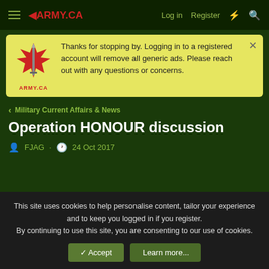ARMY.CA — Log in | Register
Thanks for stopping by. Logging in to a registered account will remove all generic ads. Please reach out with any questions or concerns.
< Military Current Affairs & News
Operation HONOUR discussion
FJAG · 24 Oct 2017
FJAG
Army.ca Fixture
This site uses cookies to help personalise content, tailor your experience and to keep you logged in if you register.
By continuing to use this site, you are consenting to our use of cookies.